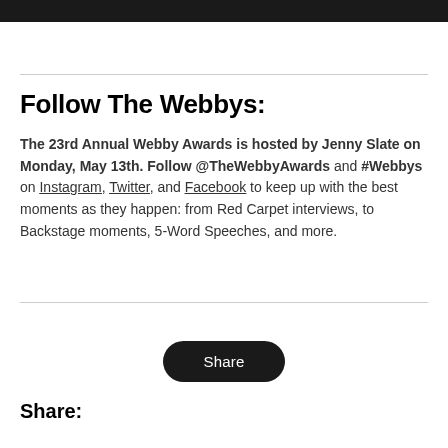Follow The Webbys:
The 23rd Annual Webby Awards is hosted by Jenny Slate on Monday, May 13th. Follow @TheWebbyAwards and #Webbys on Instagram, Twitter, and Facebook to keep up with the best moments as they happen: from Red Carpet interviews, to Backstage moments, 5-Word Speeches, and more.
Share
Share: